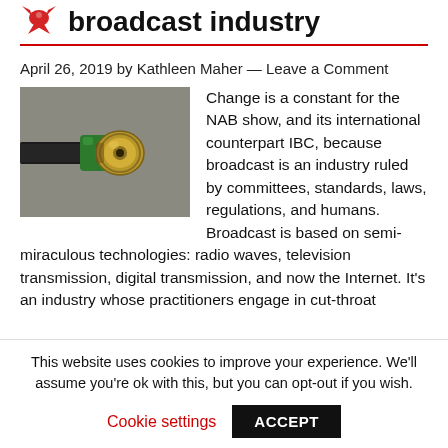broadcast industry
April 26, 2019 by Kathleen Maher — Leave a Comment
[Figure (photo): Close-up photo of a BNC coaxial cable connector with green and gold housing against a gray background]
Change is a constant for the NAB show, and its international counterpart IBC, because broadcast is an industry ruled by committees, standards, laws, regulations, and humans. Broadcast is based on semi-miraculous technologies: radio waves, television transmission, digital transmission, and now the Internet. It's an industry whose practitioners engage in cut-throat
This website uses cookies to improve your experience. We'll assume you're ok with this, but you can opt-out if you wish.
Cookie settings   ACCEPT